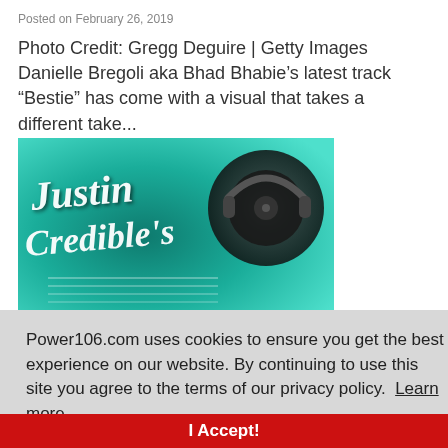Posted on February 26, 2019
Photo Credit: Gregg Deguire | Getty Images Danielle Bregoli aka Bhad Bhabie’s latest track “Bestie” has come with a visual that takes a different take...
[Figure (photo): Justin Credible's branded image with teal/green background showing DJ turntable equipment and cursive script logo text]
Power106.com uses cookies to ensure you get the best experience on our website. By continuing to use this site you agree to the terms of our privacy policy.  Learn more
I Accept!